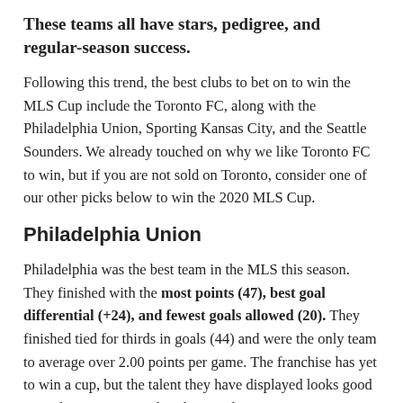These teams all have stars, pedigree, and regular-season success.
Following this trend, the best clubs to bet on to win the MLS Cup include the Toronto FC, along with the Philadelphia Union, Sporting Kansas City, and the Seattle Sounders. We already touched on why we like Toronto FC to win, but if you are not sold on Toronto, consider one of our other picks below to win the 2020 MLS Cup.
Philadelphia Union
Philadelphia was the best team in the MLS this season. They finished with the most points (47), best goal differential (+24), and fewest goals allowed (20). They finished tied for thirds in goals (44) and were the only team to average over 2.00 points per game. The franchise has yet to win a cup, but the talent they have displayed looks good enough to win one in this shortened-season.
Pick: Philadelphia Union (+450) to win the MLS Cup